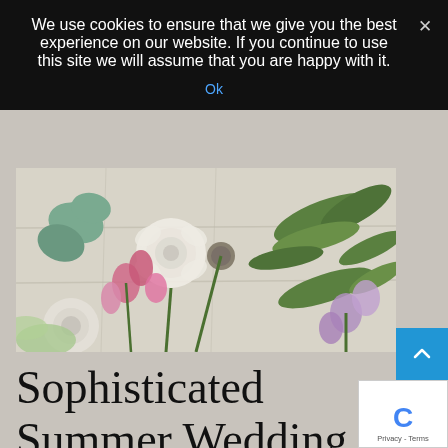We use cookies to ensure that we give you the best experience on our website. If you continue to use this site we will assume that you are happy with it.
Ok
[Figure (photo): Flat-lay photo of assorted wedding flowers including white roses, pink snapdragons, purple bell flowers, green ferns and eucalyptus on a light stone surface]
Sophisticated Summer Wedding Flowers